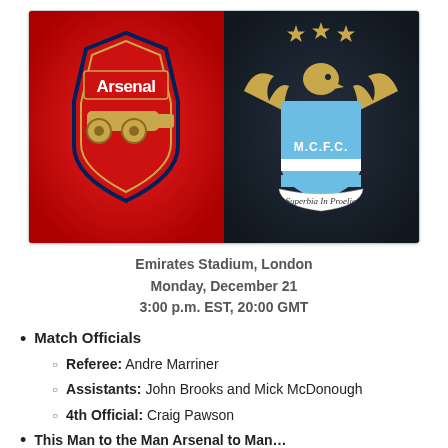[Figure (illustration): Split image showing Arsenal FC crest on red background (left half) and Manchester City FC crest on dark background (right half). Arsenal badge shows cannon and team name. Man City badge shows eagle with 'M.C.F.C.' and 'Superbia In Proelia' motto with three stars above.]
Emirates Stadium, London
Monday, December 21
3:00 p.m. EST, 20:00 GMT
Match Officials
Referee: Andre Marriner
Assistants: John Brooks and Mick McDonough
4th Official: Craig Pawson
This Man to the Man Arsenal to Man…